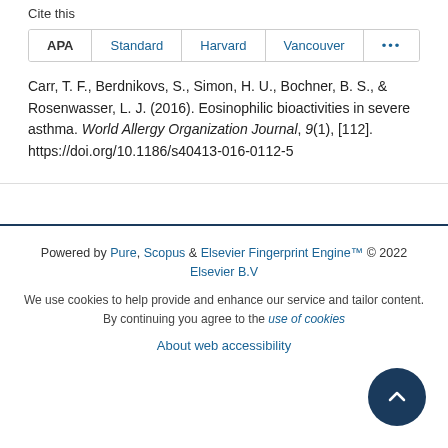Cite this
APA | Standard | Harvard | Vancouver | ...
Carr, T. F., Berdnikovs, S., Simon, H. U., Bochner, B. S., & Rosenwasser, L. J. (2016). Eosinophilic bioactivities in severe asthma. World Allergy Organization Journal, 9(1), [112]. https://doi.org/10.1186/s40413-016-0112-5
Powered by Pure, Scopus & Elsevier Fingerprint Engine™ © 2022 Elsevier B.V
We use cookies to help provide and enhance our service and tailor content. By continuing you agree to the use of cookies
About web accessibility